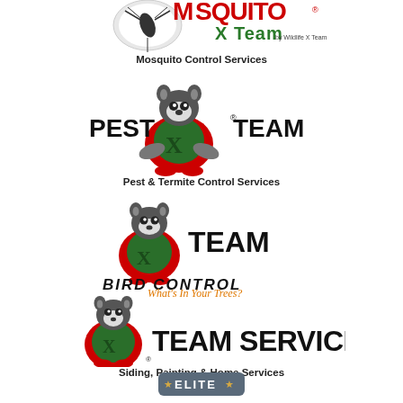[Figure (logo): Mosquito X Team logo - red text MOSQUITO with mosquito graphic, green X Team text, by Wildlife X Team]
Mosquito Control Services
[Figure (logo): PEST X TEAM logo with raccoon mascot wearing green X superhero costume with red cape]
Pest & Termite Control Services
[Figure (logo): X TEAM BIRD CONTROL logo with raccoon mascot, text reads BIRD CONTROL What's In Your Trees?]
[Figure (logo): X TEAM SERVICES logo with raccoon mascot in green X superhero costume with red cape]
Siding, Painting & Home Services
[Figure (logo): ELITE badge/banner at bottom of page]